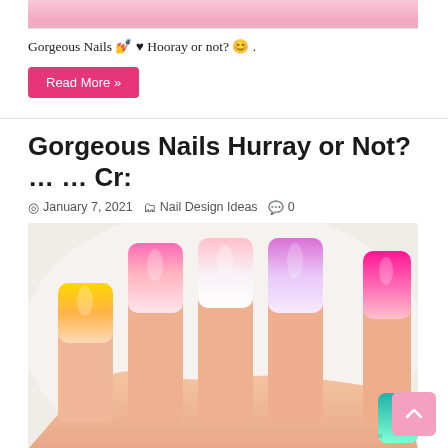[Figure (photo): Partial photo of nails with glitter at top of page (cropped)]
Gorgeous Nails 💅 ♥ Hooray or not? 😊 .
Read More »
Gorgeous Nails Hurray or Not? … … Cr:
January 7, 2021   Nail Design Ideas   0
[Figure (photo): Colorful acrylic nails photo showing multiple hands with bright yellow, pink ombre, lavender, and teal nails]
Gorgeous Nails 💅 ♥ Hooray or not? 😊 @ nailsdaily14 … … Cr: @zack_pn .